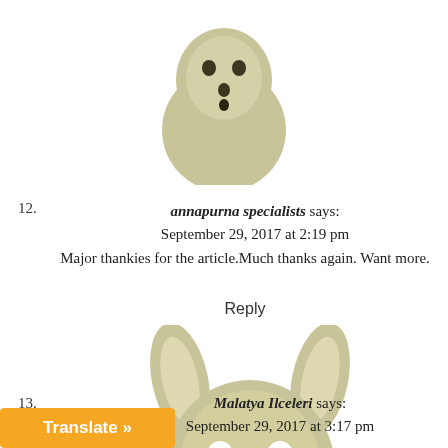[Figure (photo): Top portion of a clay or ceramic figurine with a round head and simple hole eyes/mouth, on white background]
12.
annapurna specialists says:
September 29, 2017 at 2:19 pm
Major thankies for the article.Much thanks again. Want more.
Reply
[Figure (photo): A clay or ceramic kangaroo/deer-like figurine with large ears and simple hole facial features, facing forward on white background]
13.
Malatya Ilceleri says:
September 29, 2017 at 3:17 pm
Translate »